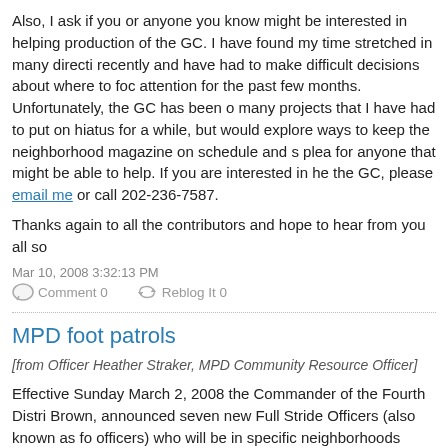Also, I ask if you or anyone you know might be interested in helping production of the GC. I have found my time stretched in many directions recently and have had to make difficult decisions about where to focus attention for the past few months. Unfortunately, the GC has been one of many projects that I have had to put on hiatus for a while, but would explore ways to keep the neighborhood magazine on schedule and s... plea for anyone that might be able to help. If you are interested in helping the GC, please email me or call 202-236-7587.
Thanks again to all the contributors and hope to hear from you all so
Mar 10, 2008 3:32:13 PM
Comment 0   Reblog It 0
MPD foot patrols
[from Officer Heather Straker, MPD Community Resource Officer]
Effective Sunday March 2, 2008 the Commander of the Fourth District Brown, announced seven new Full Stride Officers (also known as foot officers) who will be in specific neighborhoods throughout the Fourth